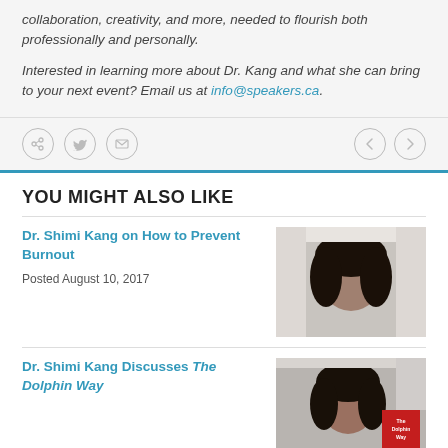collaboration, creativity, and more, needed to flourish both professionally and personally.
Interested in learning more about Dr. Kang and what she can bring to your next event? Email us at info@speakers.ca.
[Figure (other): Social share icons (share, Twitter, email) on left; navigation arrows (prev, next) on right in a light gray bar]
YOU MIGHT ALSO LIKE
Dr. Shimi Kang on How to Prevent Burnout
Posted August 10, 2017
[Figure (photo): Portrait photo of Dr. Shimi Kang smiling, dark curly hair, light background]
Dr. Shimi Kang Discusses The Dolphin Way
[Figure (photo): Portrait photo of Dr. Shimi Kang, with The Dolphin Way book badge in corner]